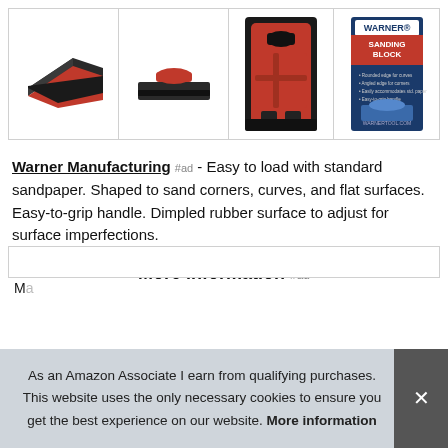[Figure (photo): Four product images of a Warner sanding block: angled top view, side view, back/interior view (red grip visible), and product packaging showing Warner Sanding Block branding]
Warner Manufacturing #ad - Easy to load with standard sandpaper. Shaped to sand corners, curves, and flat surfaces. Easy-to-grip handle. Dimpled rubber surface to adjust for surface imperfections.
More information #ad
As an Amazon Associate I earn from qualifying purchases. This website uses the only necessary cookies to ensure you get the best experience on our website. More information